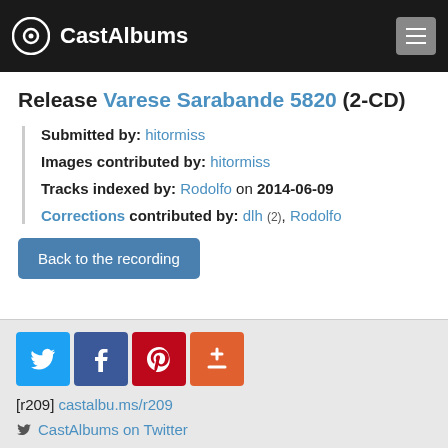CastAlbums
Release Varese Sarabande 5820 (2-CD)
Submitted by: hitormiss
Images contributed by: hitormiss
Tracks indexed by: Rodolfo on 2014-06-09
Corrections contributed by: dlh (2), Rodolfo
Back to the recording
[r209] castalbu.ms/r209
CastAlbums on Twitter